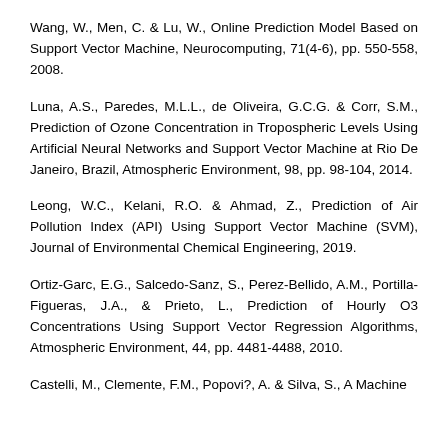Wang, W., Men, C. & Lu, W., Online Prediction Model Based on Support Vector Machine, Neurocomputing, 71(4-6), pp. 550-558, 2008.
Luna, A.S., Paredes, M.L.L., de Oliveira, G.C.G. & Corr, S.M., Prediction of Ozone Concentration in Tropospheric Levels Using Artificial Neural Networks and Support Vector Machine at Rio De Janeiro, Brazil, Atmospheric Environment, 98, pp. 98-104, 2014.
Leong, W.C., Kelani, R.O. & Ahmad, Z., Prediction of Air Pollution Index (API) Using Support Vector Machine (SVM), Journal of Environmental Chemical Engineering, 2019.
Ortiz-Garc, E.G., Salcedo-Sanz, S., Perez-Bellido, A.M., Portilla-Figueras, J.A., & Prieto, L., Prediction of Hourly O3 Concentrations Using Support Vector Regression Algorithms, Atmospheric Environment, 44, pp. 4481-4488, 2010.
Castelli, M., Clemente, F.M., Popovi?, A. & Silva, S., A Machine